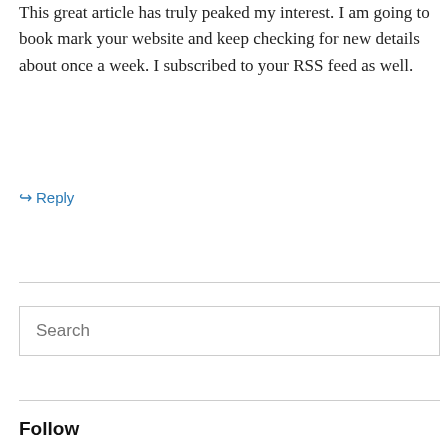This great article has truly peaked my interest. I am going to book mark your website and keep checking for new details about once a week. I subscribed to your RSS feed as well.
↳ Reply
Search
Follow
Enter your email address to follow this blog and receive notifications of new posts by email.
Enter your email address